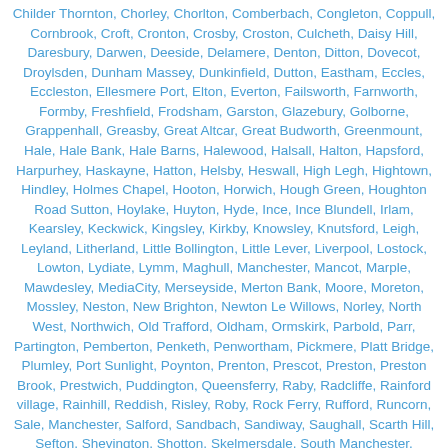Childer Thornton, Chorley, Chorlton, Comberbach, Congleton, Coppull, Cornbrook, Croft, Cronton, Crosby, Croston, Culcheth, Daisy Hill, Daresbury, Darwen, Deeside, Delamere, Denton, Ditton, Dovecot, Droylsden, Dunham Massey, Dunkinfield, Dutton, Eastham, Eccles, Eccleston, Ellesmere Port, Elton, Everton, Failsworth, Farnworth, Formby, Freshfield, Frodsham, Garston, Glazebury, Golborne, Grappenhall, Greasby, Great Altcar, Great Budworth, Greenmount, Hale, Hale Bank, Hale Barns, Halewood, Halsall, Halton, Hapsford, Harpurhey, Haskayne, Hatton, Helsby, Heswall, High Legh, Hightown, Hindley, Holmes Chapel, Hooton, Horwich, Hough Green, Houghton Road Sutton, Hoylake, Huyton, Hyde, Ince, Ince Blundell, Irlam, Kearsley, Keckwick, Kingsley, Kirkby, Knowsley, Knutsford, Leigh, Leyland, Litherland, Little Bollington, Little Lever, Liverpool, Lostock, Lowton, Lydiate, Lymm, Maghull, Manchester, Mancot, Marple, Mawdesley, MediaCity, Merseyside, Merton Bank, Moore, Moreton, Mossley, Neston, New Brighton, Newton Le Willows, Norley, North West, Northwich, Old Trafford, Oldham, Ormskirk, Parbold, Parr, Partington, Pemberton, Penketh, Penwortham, Pickmere, Platt Bridge, Plumley, Port Sunlight, Poynton, Prenton, Prescot, Preston, Preston Brook, Prestwich, Puddington, Queensferry, Raby, Radcliffe, Rainford village, Rainhill, Reddish, Risley, Roby, Rock Ferry, Rufford, Runcorn, Sale, Manchester, Salford, Sandbach, Sandiway, Saughall, Scarth Hill, Sefton, Shevington, Shotton, Skelmersdale, South Manchester, Southport, Speke, St Helens, Stockport, Stockton Heath, Storeton, Stretford, Stretton, Sutton, Sutton Weaver, Swinton, Tameside, Tarbock, Tarleton, Tarporley, Tarvin, Thurstaston, Timperley, Tiverton, Tottington, Town Green, Trafford, Tuebrook, Tyldesley, Urmston, Walkden, Wallasey, Walton, Walton-le-dale, Warburton, Warrington, Weaverham, West Derby, West Kirby, West Park, Westhead, Westhoughton, Whaley Bridge, Whitby, Whitchurch, Whitechapel, Whitefield, Widnes, Wigan